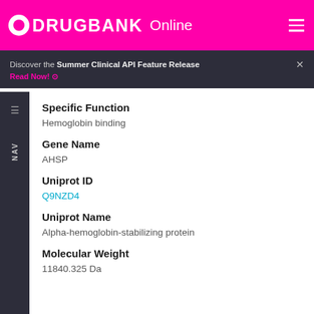DRUGBANK Online
Discover the Summer Clinical API Feature Release
Read Now!
Specific Function
Hemoglobin binding
Gene Name
AHSP
Uniprot ID
Q9NZD4
Uniprot Name
Alpha-hemoglobin-stabilizing protein
Molecular Weight
11840.325 Da